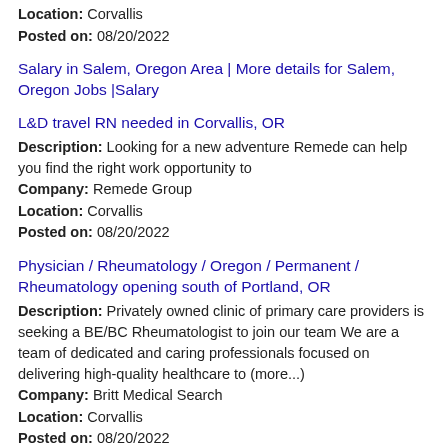Location: Corvallis
Posted on: 08/20/2022
Salary in Salem, Oregon Area | More details for Salem, Oregon Jobs |Salary
L&D travel RN needed in Corvallis, OR
Description: Looking for a new adventure Remede can help you find the right work opportunity to
Company: Remede Group
Location: Corvallis
Posted on: 08/20/2022
Physician / Rheumatology / Oregon / Permanent / Rheumatology opening south of Portland, OR
Description: Privately owned clinic of primary care providers is seeking a BE/BC Rheumatologist to join our team We are a team of dedicated and caring professionals focused on delivering high-quality healthcare to (more...)
Company: Britt Medical Search
Location: Corvallis
Posted on: 08/20/2022
HIRING: Flatbed Drivers - Local, Regional & OTR Positions